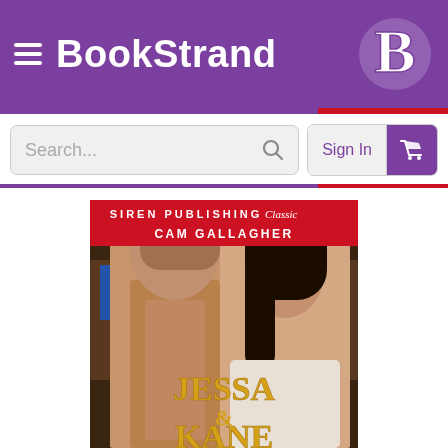BookStrand
[Figure (screenshot): BookStrand website screenshot showing header with logo, search bar, Sign In button, cart icon, and a book cover for 'Jessa & Kane' by Cam Gallagher, Siren Publishing Classic]
[Figure (illustration): Book cover: Siren Publishing Classic, Cam Gallagher, Jessa & Kane — romantic novel cover featuring a shirtless man and a dark-haired woman in front of bookshelves, with gold title text]